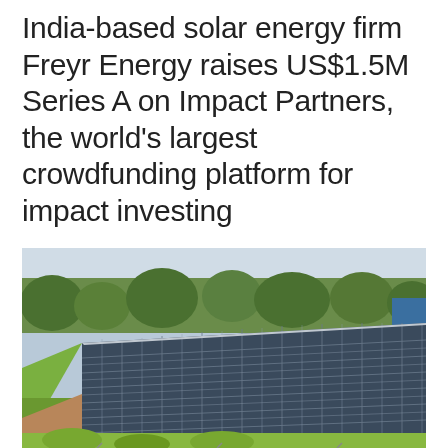India-based solar energy firm Freyr Energy raises US$1.5M Series A on Impact Partners, the world's largest crowdfunding platform for impact investing
[Figure (photo): Aerial/ground-level photograph of a large array of solar panels installed outdoors, surrounded by green trees and grass, with a garden setting visible around the installation.]